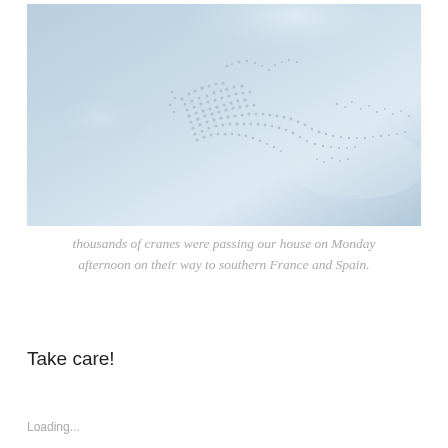[Figure (photo): A flock of cranes flying in formation against a pale blue-grey sky, forming a large bird-like or flying shape made of many individual birds.]
thousands of cranes were passing our house on Monday afternoon on their way to southern France and Spain.
Take care!
Loading...